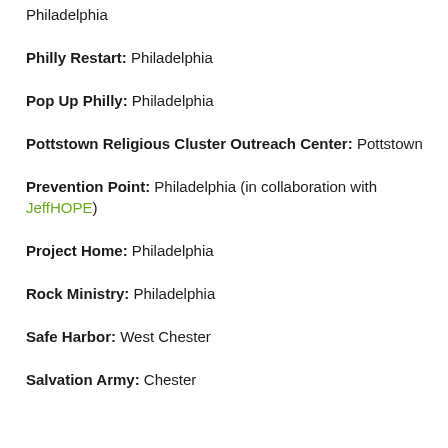Philadelphia
Philly Restart: Philadelphia
Pop Up Philly: Philadelphia
Pottstown Religious Cluster Outreach Center: Pottstown
Prevention Point: Philadelphia (in collaboration with JeffHOPE)
Project Home: Philadelphia
Rock Ministry: Philadelphia
Safe Harbor: West Chester
Salvation Army: Chester